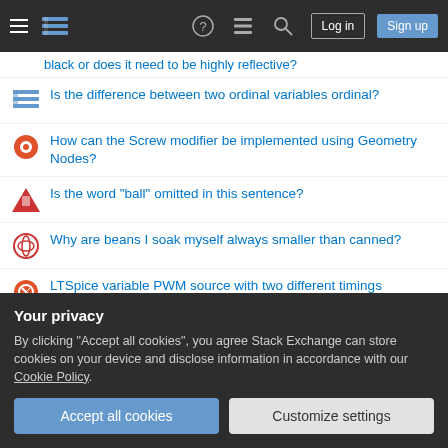Stack Exchange navigation bar with hamburger menu, logo, help, chat, search, Log in, Sign up
black or does it need to be highly reflective?
Is the difference between two ordinal variables ordinal?
How can the Screw modifier be implemented using Geometry Nodes?
Is the word "ball" omitted in this sentence?
Why are beans I soak myself always smaller than canned?
LTSpice variable PWM source with two different timings
Does a US President have to file any paperwork to declassify information?
Why is Manchin the only Democratic Senator leveraging the 50/50 vote split for the benefit of their state?
Your privacy
By clicking "Accept all cookies", you agree Stack Exchange can store cookies on your device and disclose information in accordance with our Cookie Policy.
Accept all cookies
Customize settings